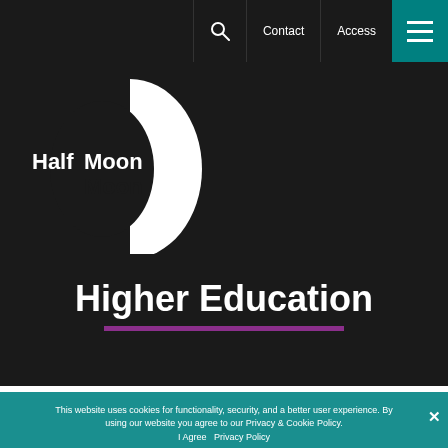Contact  Access  [menu]
[Figure (logo): Half Moon logo: white text 'Half Moon' with a white half-circle/D shape on black background]
Higher Education
This website uses cookies for functionality, security, and a better user experience. By using our website you agree to our Privacy & Cookie Policy.
I Agree  Privacy Policy